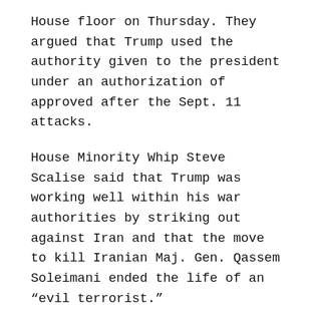House floor on Thursday. They argued that Trump used the authority given to the president under an authorization of approved after the Sept. 11 attacks.
House Minority Whip Steve Scalise said that Trump was working well within his war authorities by striking out against Iran and that the move to kill Iranian Maj. Gen. Qassem Soleimani ended the life of an “evil terrorist.”
“This place is a safer place with Soleimani gone,” the Louisiana Republican said.
Rep. Jodey Arrington, R-Texas, also attacked the Democrats’ efforts.
“Thankfully this is a resolution going nowhere,” he said.